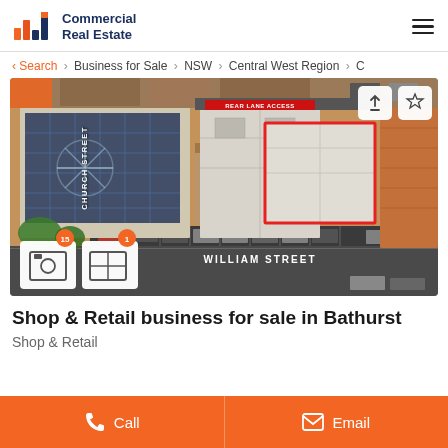Commercial Real Estate
‹ Search › Business for Sale › NSW › Central West Region › C
[Figure (photo): Aerial view of commercial property at intersection of Church Street and William Street in Bathurst, showing rooftop with solar panels, parking, and highlighted building with red rectangle. Labels: REAR LANE ACCESS, CHURCH STREET, WILLIAM STREET.]
Shop & Retail business for sale in Bathurst
Shop & Retail
Call   Email